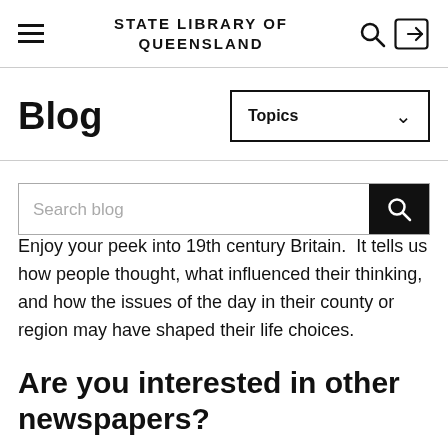STATE LIBRARY OF QUEENSLAND
Blog
Enjoy your peek into 19th century Britain.  It tells us how people thought, what influenced their thinking, and how the issues of the day in their county or region may have shaped their life choices.
Are you interested in other newspapers?